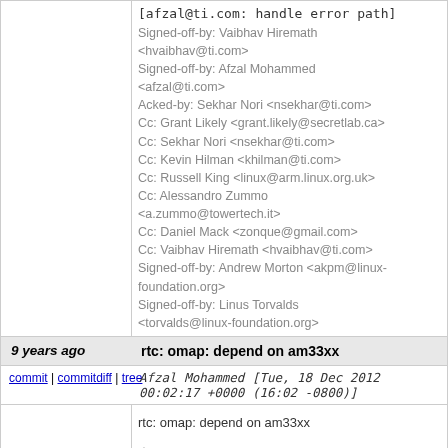[afzal@ti.com: handle error path]
Signed-off-by: Vaibhav Hiremath <hvaibhav@ti.com>
Signed-off-by: Afzal Mohammed <afzal@ti.com>
Acked-by: Sekhar Nori <nsekhar@ti.com>
Cc: Grant Likely <grant.likely@secretlab.ca>
Cc: Sekhar Nori <nsekhar@ti.com>
Cc: Kevin Hilman <khilman@ti.com>
Cc: Russell King <linux@arm.linux.org.uk>
Cc: Alessandro Zummo <a.zummo@towertech.it>
Cc: Daniel Mack <zonque@gmail.com>
Cc: Vaibhav Hiremath <hvaibhav@ti.com>
Signed-off-by: Andrew Morton <akpm@linux-foundation.org>
Signed-off-by: Linus Torvalds <torvalds@linux-foundation.org>
9 years ago	rtc: omap: depend on am33xx
commit | commitdiff | tree
Afzal Mohammed [Tue, 18 Dec 2012 00:02:17 +0000 (16:02 -0800)]
rtc: omap: depend on am33xx

rtc-
omap driver can be reused for AM33xx RTC.  Prov
Kconfig.